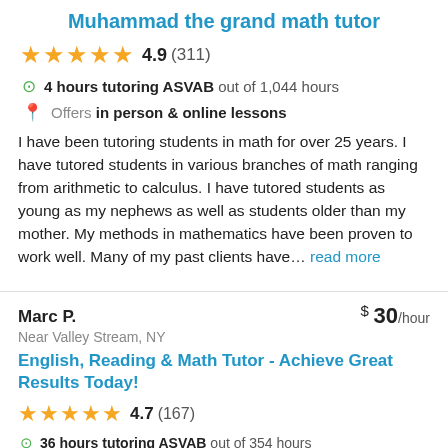Muhammad the grand math tutor
4.9 (311)
4 hours tutoring ASVAB out of 1,044 hours
Offers in person & online lessons
I have been tutoring students in math for over 25 years. I have tutored students in various branches of math ranging from arithmetic to calculus. I have tutored students as young as my nephews as well as students older than my mother. My methods in mathematics have been proven to work well. Many of my past clients have... read more
Marc P.
$ 30/hour
Near Valley Stream, NY
English, Reading & Math Tutor - Achieve Great Results Today!
4.7 (167)
36 hours tutoring ASVAB out of 354 hours